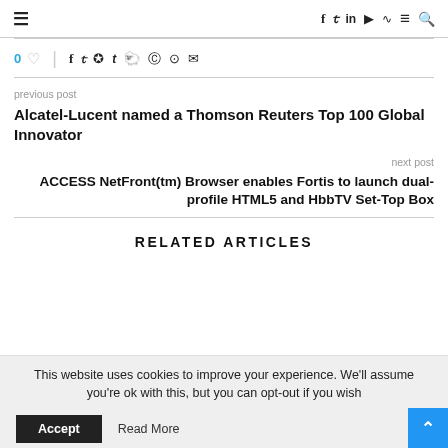Navigation bar with hamburger menu and social/nav icons
0 ♡  |  Social share icons: facebook, twitter, pinterest, tumblr, reddit, whatsapp, telegram, email
previous post
Alcatel-Lucent named a Thomson Reuters Top 100 Global Innovator
next post
ACCESS NetFront(tm) Browser enables Fortis to launch dual-profile HTML5 and HbbTV Set-Top Box
RELATED ARTICLES
This website uses cookies to improve your experience. We'll assume you're ok with this, but you can opt-out if you wish
Accept   Read More